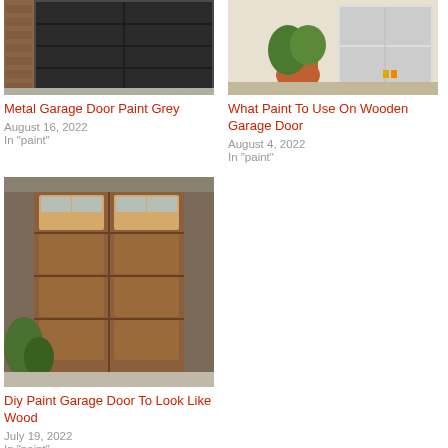[Figure (photo): Dark grey metal garage door on a brick house]
Metal Garage Door Paint Grey
August 16, 2022
In "paint"
[Figure (photo): Light colored wooden garage door with potted plants nearby]
What Paint To Use On Wooden Garage Door
August 4, 2022
In "paint"
[Figure (photo): Wood-stained garage door with stone surround and plants]
Diy Paint Garage Door To Look Like Wood
July 19, 2022
In "paint"